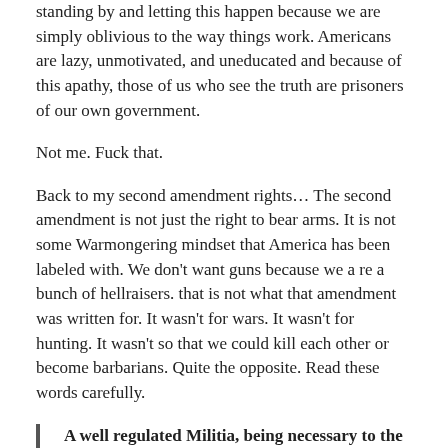standing by and letting this happen because we are simply oblivious to the way things work. Americans are lazy, unmotivated, and uneducated and because of this apathy, those of us who see the truth are prisoners of our own government.
Not me. Fuck that.
Back to my second amendment rights… The second amendment is not just the right to bear arms. It is not some Warmongering mindset that America has been labeled with. We don't want guns because we a re a bunch of hellraisers. that is not what that amendment was written for. It wasn't for wars. It wasn't for hunting. It wasn't so that we could kill each other or become barbarians. Quite the opposite. Read these words carefully.
A well regulated Militia, being necessary to the security of a free State, the right of the people to keep and bear Arms, shall not be infringed.
The key words here are “necessary to the security of a free state”. You see, our forefathers knew that the government that they were escaping form had repressed them leaving no way to rebel and stand up once things had gotten too far. This amendment was written, and made number 2 on the list, because they realized how